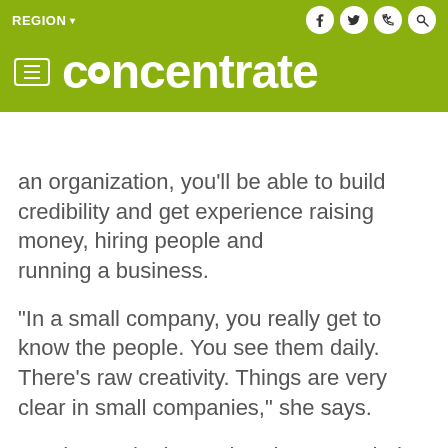REGION | concentrate
an organization, you'll be able to build credibility and get experience raising money, hiring people and running a business.
"In a small company, you really get to know the people. You see them daily. There's raw creativity. Things are very clear in small companies," she says.
For those who have already succeeded and have the payout to prove it, she says, "Take the money from the payout and reinvest it in the community."